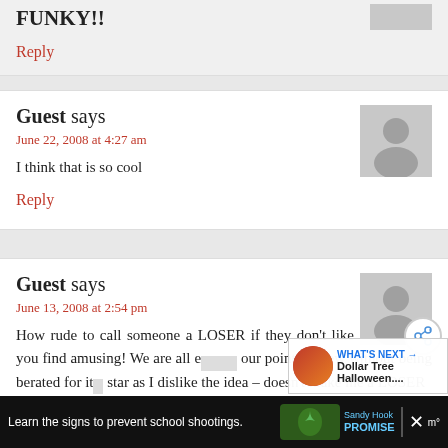FUNKY!!
Reply
Guest says
June 22, 2008 at 4:27 am
I think that is so cool
Reply
Guest says
June 13, 2008 at 2:54 pm
How rude to call someone a LOSER if they don't like an idea that you find amusing! We are all e... our point of view without being berated for it... star as I dislike the idea – doesn't make me a LOSER
WHAT'S NEXT → Dollar Tree Halloween....
Learn the signs to prevent school shootings.